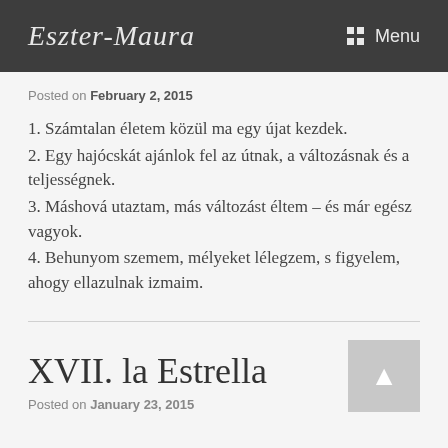Eszter-Maura   Menu
Posted on February 2, 2015
1. Számtalan életem közül ma egy újat kezdek.
2. Egy hajócskát ajánlok fel az útnak, a változásnak és a teljességnek.
3. Máshová utaztam, más változást éltem – és már egész vagyok.
4. Behunyom szemem, mélyeket lélegzem, s figyelem, ahogy ellazulnak izmaim.
XVII. la Estrella
Posted on January 23, 2015